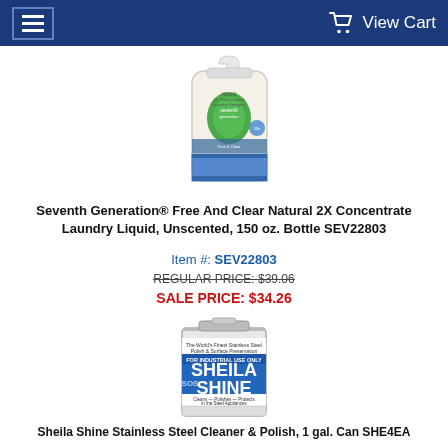View Cart
[Figure (photo): Seventh Generation Free And Clear Natural 2X Concentrate Laundry Liquid bottle, 150 oz, white plastic jug with green leaf logo]
Seventh Generation® Free And Clear Natural 2X Concentrate Laundry Liquid, Unscented, 150 oz. Bottle SEV22803
Item #: SEV22803
REGULAR PRICE: $39.06
SALE PRICE: $34.26
[Figure (photo): Sheila Shine Stainless Steel Cleaner & Polish, 1 gallon can, blue and white label]
Sheila Shine Stainless Steel Cleaner & Polish, 1 gal. Can SHE4EA